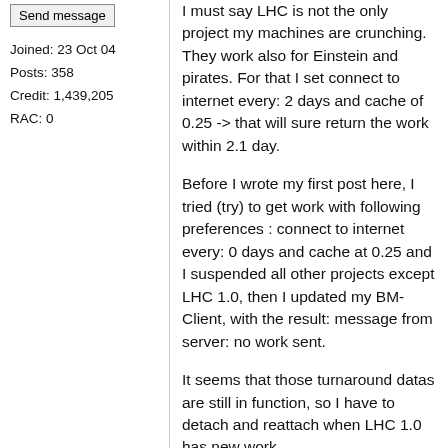Send message
Joined: 23 Oct 04
Posts: 358
Credit: 1,439,205
RAC: 0
I must say LHC is not the only project my machines are crunching. They work also for Einstein and pirates. For that I set connect to internet every: 2 days and cache of 0.25 -> that will sure return the work within 2.1 day.
Before I wrote my first post here, I tried (try) to get work with following preferences : connect to internet every: 0 days and cache at 0.25 and I suspended all other projects except LHC 1.0, then I updated my BM-Client, with the result: message from server: no work sent.
It seems that those turnaround datas are still in function, so I have to detach and reattach when LHC 1.0 has new work.